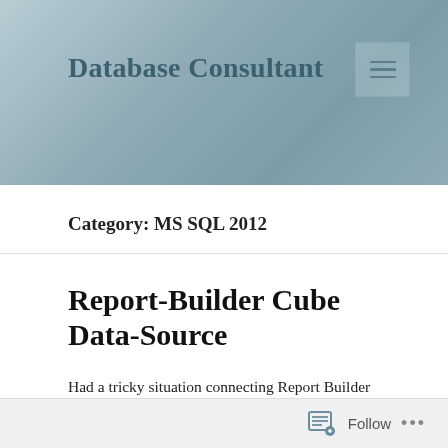Database Consultant
Category: MS SQL 2012
Report-Builder Cube Data-Source
Had a tricky situation connecting Report Builder 3 to a cube. I was able to copy the connection string from withing SSDT but it still would not work.
Follow